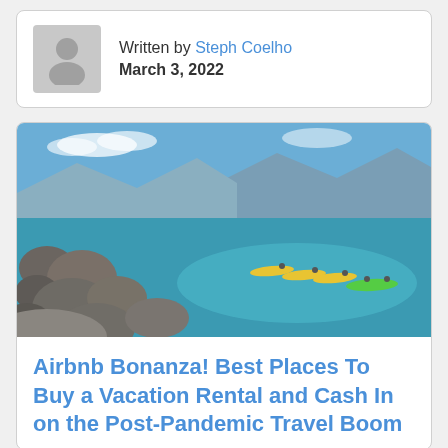Written by Steph Coelho
March 3, 2022
[Figure (photo): Lake with clear turquoise water, rocky shoreline on the left, people kayaking in yellow and green kayaks, mountains and blue sky in the background.]
Airbnb Bonanza! Best Places To Buy a Vacation Rental and Cash In on the Post-Pandemic Travel Boom